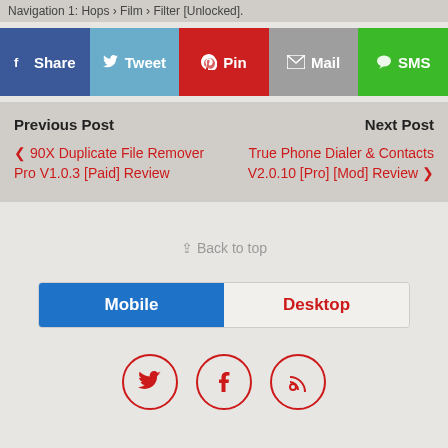Navigation 1: Hops › Film › Filter [Unlocked].
[Figure (infographic): Social share buttons: Share (Facebook, blue), Tweet (Twitter, light blue), Pin (Pinterest, red), Mail (grey), SMS (green)]
Previous Post
Next Post
❮ 90X Duplicate File Remover Pro V1.0.3 [Paid] Review
True Phone Dialer & Contacts V2.0.10 [Pro] [Mod] Review ❯
⇪ Back to top
[Figure (infographic): Mobile/Desktop toggle switch — Mobile button selected (blue), Desktop button unselected (light grey with red text)]
[Figure (infographic): Social media icon circles: Twitter bird, Facebook f, RSS feed icon — all red outlines on light background]